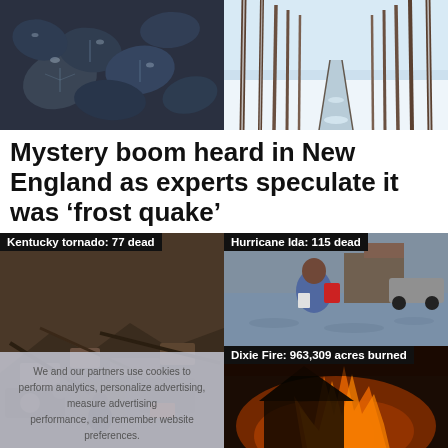[Figure (photo): Frost-covered leaves close-up, dark blue-green tones]
[Figure (photo): Snowy forest path between bare trees in winter]
Mystery boom heard in New England as experts speculate it was ‘frost quake’
[Figure (photo): Kentucky tornado debris and destruction, worker searching through rubble. Label: Kentucky tornado: 77 dead]
[Figure (photo): Hurricane Ida flooding, person wading through floodwater carrying bags. Label: Hurricane Ida: 115 dead]
[Figure (photo): Dixie Fire burning structure at night. Label: Dixie Fire: 963,309 acres burned]
We and our partners use cookies to personalize advertising, measure advertising performance, and remember website preferences.